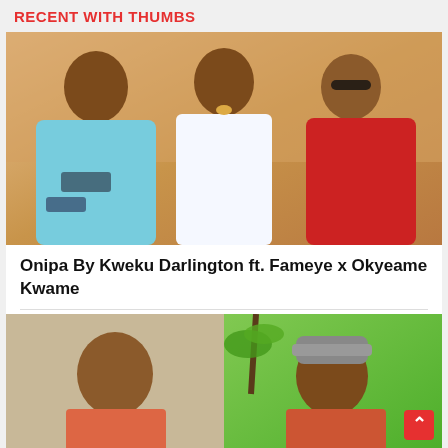RECENT WITH THUMBS
[Figure (photo): Three men posing together: left man in light blue outfit with dreadlocks, center man in white vest with gold chain, right man in red leather jacket with sunglasses]
Onipa By Kweku Darlington ft. Fameye x Okyeame Kwame
[Figure (photo): Two young men posing; left man with short hair looking at camera, right man wearing a grey beanie hat; tropical/green background]